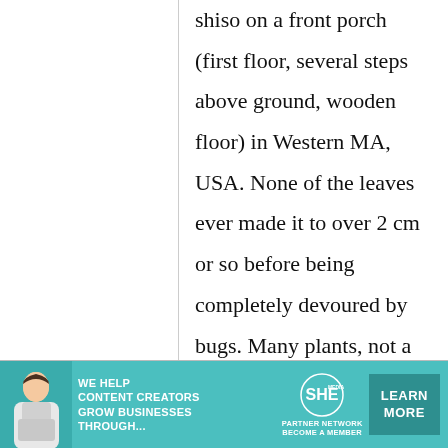shiso on a front porch (first floor, several steps above ground, wooden floor) in Western MA, USA. None of the leaves ever made it to over 2 cm or so before being completely devoured by bugs. Many plants, not a single leaf survived. Sowed them
[Figure (other): Advertisement banner for SHE Media Partner Network. Shows a woman with a laptop, text 'We help content creators grow businesses through...', SHE logo with 'Partner Network / Become a Member', and a 'Learn More' button. Teal/turquoise background.]